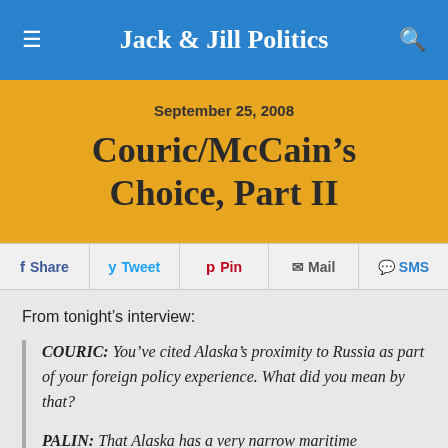Jack & Jill Politics
September 25, 2008
Couric/McCain's Choice, Part II
Share  Tweet  Pin  Mail  SMS
From tonight's interview:
COURIC: You've cited Alaska's proximity to Russia as part of your foreign policy experience. What did you mean by that?

PALIN: That Alaska has a very narrow maritime border between a foreign country, Russia, and...